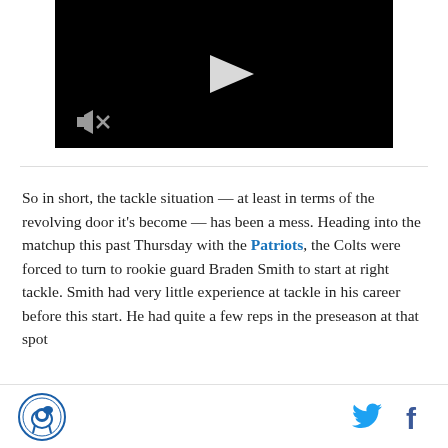[Figure (screenshot): Video player thumbnail with black background, white play button triangle in center, and mute icon in bottom-left corner]
So in short, the tackle situation — at least in terms of the revolving door it's become — has been a mess. Heading into the matchup this past Thursday with the Patriots, the Colts were forced to turn to rookie guard Braden Smith to start at right tackle. Smith had very little experience at tackle in his career before this start. He had quite a few reps in the preseason at that spot
SB Nation logo | Twitter icon | Facebook icon